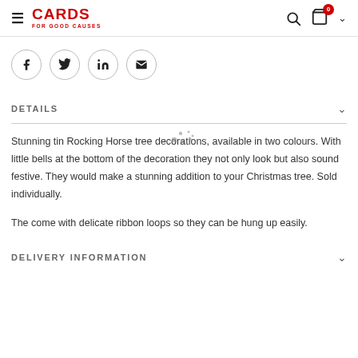CARDS FOR GOOD CAUSES
[Figure (other): Social share buttons: Facebook, Twitter, LinkedIn, Email]
DETAILS
Stunning tin Rocking Horse tree decorations, available in two colours. With little bells at the bottom of the decoration they not only look but also sound festive. They would make a stunning addition to your Christmas tree. Sold individually.
The come with delicate ribbon loops so they can be hung up easily.
DELIVERY INFORMATION